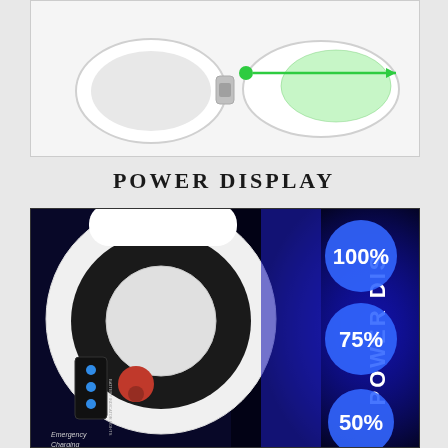[Figure (photo): Two white oval/capsule-shaped device halves shown on white background. A green arrow and dot annotation points horizontally across the open device showing its width/opening direction.]
POWER DISPLAY
[Figure (photo): Product photo of a white emergency solar charger device shown against dark blue background. Right side shows three glowing blue circles with power level percentages: 100%, 75%, 50%. Center has vertical text 'POWER DISPLAY'. Device shows battery indicator lights (blue LEDs) and a red button/element. Label text reads 'Emergency Charging' and 'BATTERY INDICATOR LIGHTS'.]